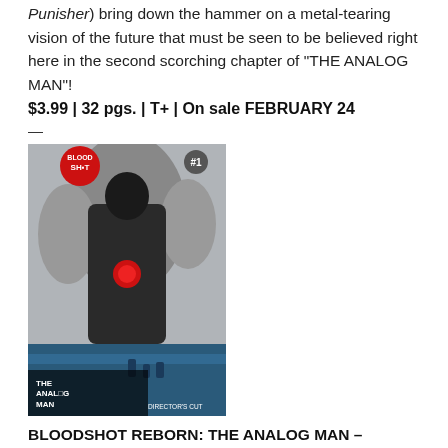Punisher) bring down the hammer on a metal-tearing vision of the future that must be seen to be believed right here in the second scorching chapter of “THE ANALOG MAN”!
$3.99 | 32 pgs. | T+ | On sale FEBRUARY 24
—
[Figure (illustration): Comic book cover for Bloodshot: The Analog Man Director's Cut #1 showing a muscular figure with a red circle on chest among ghostly faces, with blue icy lower portion and title text at bottom]
BLOODSHOT REBORN: THE ANALOG MAN – DIRECTOR’S CUT #1
Written by JEFF LEMIRE
Art & Cover by THISISLEROYWI...